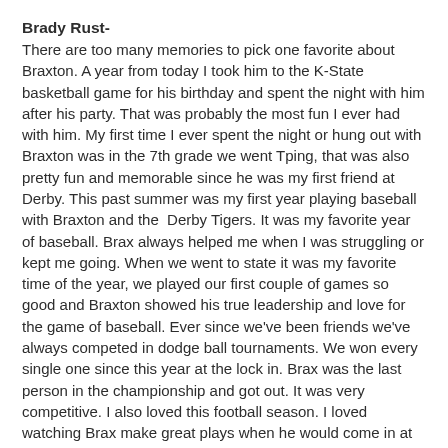Brady Rust-
There are too many memories to pick one favorite about Braxton.  A year from today I took him to the K-State basketball game for his birthday and spent the night with him after his party.  That was probably the most fun I ever had with him.  My first time I ever spent the night or hung out with Braxton was in the 7th grade we went Tping, that was also pretty fun and memorable since he was my first friend at Derby.  This past summer was my first year playing baseball with Braxton and the  Derby Tigers.  It was my favorite year of baseball.  Brax always helped me when I was struggling or kept me going.  When we went to state it was my favorite time of the year, we played our first couple of games so good and Braxton showed his true leadership and love for the game of baseball.  Ever since we've been friends we've always competed in dodge ball tournaments.  We won every single one since this year at the lock in.  Brax was the last person in the championship and got out.  It was very competitive.  I also loved this football season.  I loved watching Brax make great plays when he would come in at quarterback or when I would scramble and throw him a pass.  He always seemed to be open downfield in the endzone and I